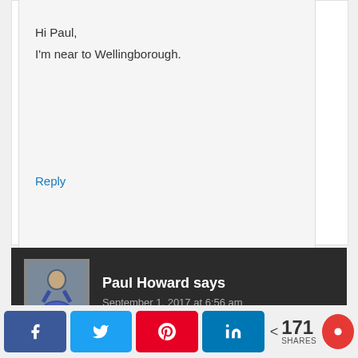Hi Paul,
I'm near to Wellingborough.
Reply
Paul Howard says
September 1, 2017 at 6:56 am
< 171 SHARES